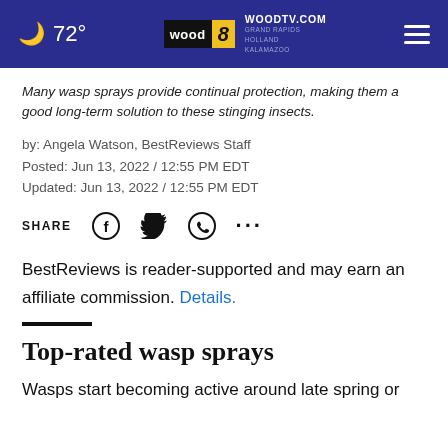72° WOODTV.COM WOOD 8 GRAND RAPIDS HOLLAND KALAMAZOO
Many wasp sprays provide continual protection, making them a good long-term solution to these stinging insects.
by: Angela Watson, BestReviews Staff
Posted: Jun 13, 2022 / 12:55 PM EDT
Updated: Jun 13, 2022 / 12:55 PM EDT
SHARE [Facebook] [Twitter] [WhatsApp] [...]
BestReviews is reader-supported and may earn an affiliate commission. Details.
Top-rated wasp sprays
Wasps start becoming active around late spring or